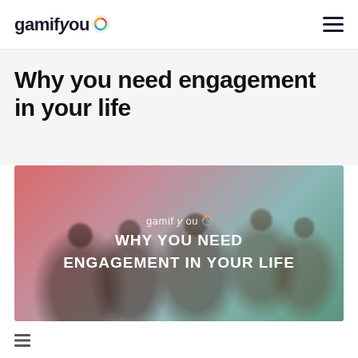gamifyou [logo icon] [hamburger menu]
Why you need engagement in your life
[Figure (photo): Hero image with colorful gradient overlay (red-pink-teal-green) showing a group of people looking at a laptop together, with text 'gamifyou WHY YOU NEED ENGAGEMENT IN YOUR LIFE' overlaid in white.]
[Figure (other): Small hamburger/list icon at bottom left of page]